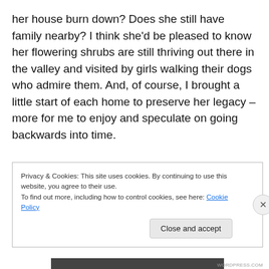her house burn down? Does she still have family nearby? I think she'd be pleased to know her flowering shrubs are still thriving out there in the valley and visited by girls walking their dogs who admire them. And, of course, I brought a little start of each home to preserve her legacy – more for me to enjoy and speculate on going backwards into time.
Privacy & Cookies: This site uses cookies. By continuing to use this website, you agree to their use. To find out more, including how to control cookies, see here: Cookie Policy